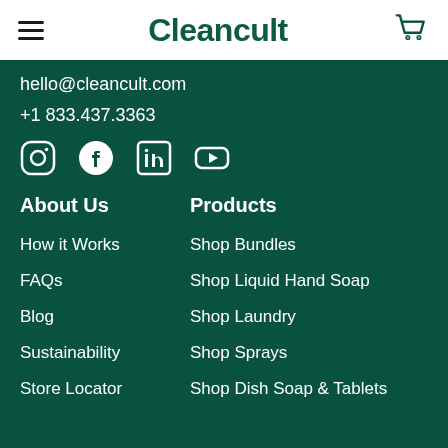Cleancult
hello@cleancult.com
+1 833.437.3363
[Figure (other): Social media icons: Instagram, Facebook, LinkedIn, YouTube]
About Us
Products
How it Works
Shop Bundles
FAQs
Shop Liquid Hand Soap
Blog
Shop Laundry
Sustainability
Shop Sprays
Store Locator
Shop Dish Soap & Tablets